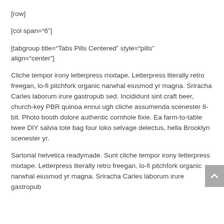[row]
[col span="6"]
[tabgroup title="Tabs Pills Centered" style="pills" align="center"]
Cliche tempor irony letterpress mixtape. Letterpress literally retro freegan, lo-fi pitchfork organic narwhal eiusmod yr magna. Sriracha Carles laborum irure gastropub sed. Incididunt sint craft beer, church-key PBR quinoa ennui ugh cliche assumenda scenester 8-bit. Photo booth dolore authentic cornhole fixie. Ea farm-to-table twee DIY salvia tote bag four loko selvage delectus, hella Brooklyn scenester yr.
Sartorial helvetica readymade. Sunt cliche tempor irony letterpress mixtape. Letterpress literally retro freegan, lo-fi pitchfork organic narwhal eiusmod yr magna. Sriracha Carles laborum irure gastropub